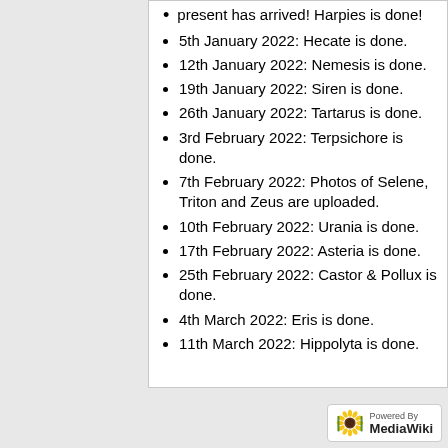present has arrived! Harpies is done!
5th January 2022: Hecate is done.
12th January 2022: Nemesis is done.
19th January 2022: Siren is done.
26th January 2022: Tartarus is done.
3rd February 2022: Terpsichore is done.
7th February 2022: Photos of Selene, Triton and Zeus are uploaded.
10th February 2022: Urania is done.
17th February 2022: Asteria is done.
25th February 2022: Castor & Pollux is done.
4th March 2022: Eris is done.
11th March 2022: Hippolyta is done.
[Figure (logo): Powered by MediaWiki badge with sunflower logo]